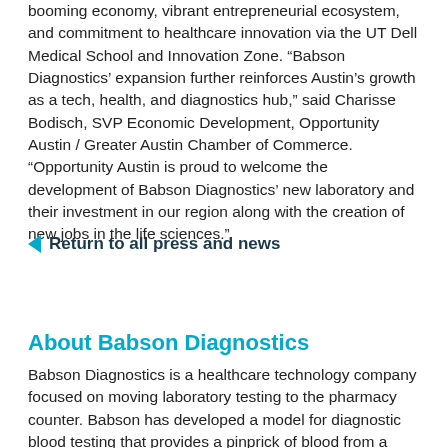booming economy, vibrant entrepreneurial ecosystem, and commitment to healthcare innovation via the UT Dell Medical School and Innovation Zone. “Babson Diagnostics’ expansion further reinforces Austin’s growth as a tech, health, and diagnostics hub,” said Charisse Bodisch, SVP Economic Development, Opportunity Austin / Greater Austin Chamber of Commerce. “Opportunity Austin is proud to welcome the development of Babson Diagnostics’ new laboratory and their investment in our region along with the creation of new jobs in the life sciences.”
Return to all press and news
About Babson Diagnostics
Babson Diagnostics is a healthcare technology company focused on moving laboratory testing to the pharmacy counter. Babson has developed a model for diagnostic blood testing that provides a pinprick of blood from a